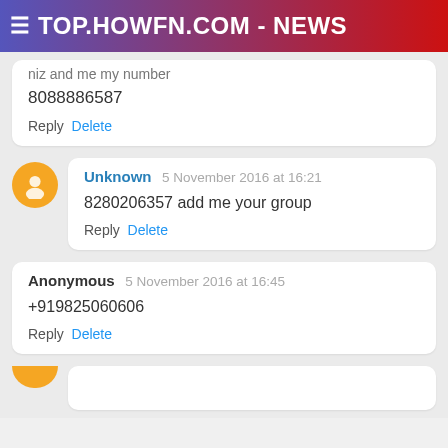≡ TOP.HOWFN.COM - NEWS
niz and me my number
8088886587
Reply  Delete
Unknown  5 November 2016 at 16:21
8280206357 add me your group
Reply  Delete
Anonymous  5 November 2016 at 16:45
+919825060606
Reply  Delete